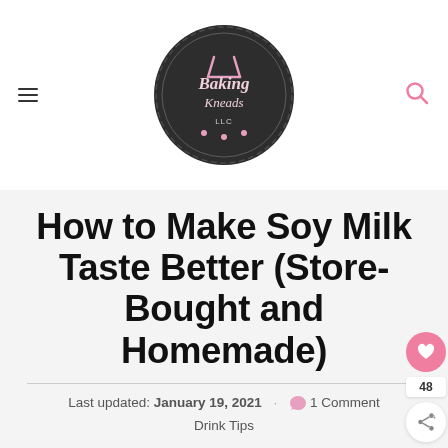Baking Kneads (logo)
How to Make Soy Milk Taste Better (Store-Bought and Homemade)
Last updated: January 19, 2021 · 1 Comment Drink Tips